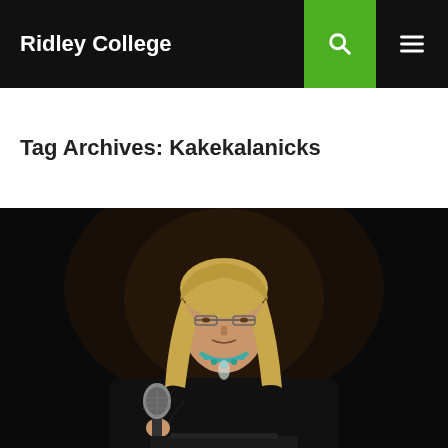Ridley College
Tag Archives: Kakekalanicks
[Figure (photo): A woman with long blonde hair and glasses, wearing a black top and turquoise necklace, speaking into a microphone at a podium against a dark background.]